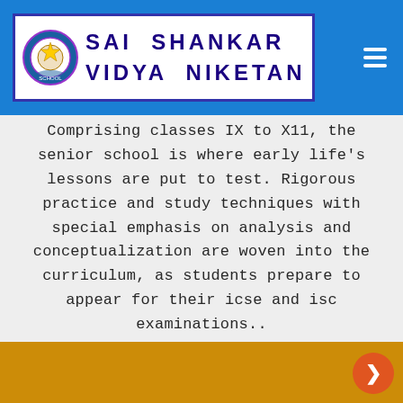SAI SHANKAR VIDYA NIKETAN
Comprising classes IX to X11, the senior school is where early life's lessons are put to test. Rigorous practice and study techniques with special emphasis on analysis and conceptualization are woven into the curriculum, as students prepare to appear for their icse and isc examinations..
[Figure (other): Gold/yellow colored decorative bottom section of the page]